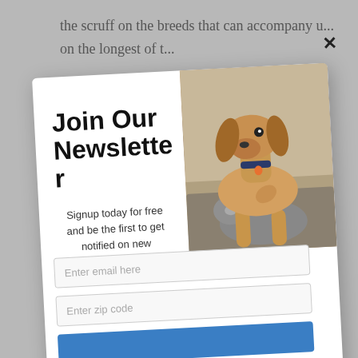the scruff on the breeds that can accompany... on the longest of t...
[Figure (screenshot): Newsletter signup modal popup with a photo of a dog nuzzling a cat. The modal contains 'Join Our Newsletter' as the title, promotional text 'Signup today for free and be the first to get notified on new updates', an email input field, a zip code input field, and a partially visible submit button. A close (X) button appears in the top right.]
Join Our Newsletter
Signup today for free and be the first to get notified on new updates
Enter email here
Enter zip code